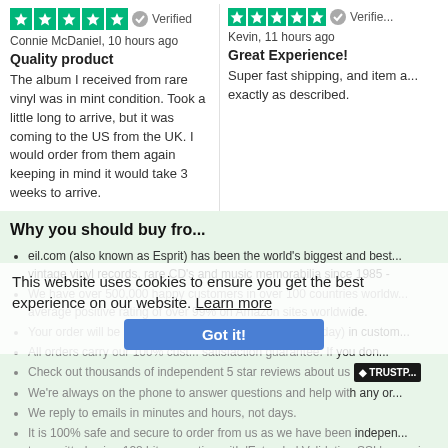[Figure (other): 5-star Trustpilot rating with Verified badge for left review]
Connie McDaniel, 10 hours ago
Quality product
The album I received from rare vinyl was in mint condition. Took a little long to arrive, but it was coming to the US from the UK. I would order from them again keeping in mind it would take 3 weeks to arrive.
[Figure (other): 5-star Trustpilot rating with Verified badge for right review]
Kevin, 11 hours ago
Great Experience!
Super fast shipping, and item a... exactly as described.
Why you should buy fro...
eil.com (also known as Esprit) has been the world's biggest and best... vintage vinyl records, rare CD's and music memorabilia since 1985 -
We have over 500,000 happy customers in over 100 countries worldw... average positive rating of over 99% on Amazon sites worldw... de.
Your order will be shipped the same day (Monday to Friday) in custon...
All orders carry our 100% cust... satisfaction guarantee. If you don...
Check out thousands of independent 5 star reviews about us [TRUSTPILOT]
We're always on the phone to answer questions and help with any or...
We reply to emails in minutes and hours, not days.
It is 100% safe and secure to order from us as we have been indepen... transmitted using 128 bit encryption with 'Extended Validation SSL' a... using the strictest authentication standard. See the padlock symbol sh...
This website uses cookies to ensure you get the best experience on our website. Learn more
Got it!